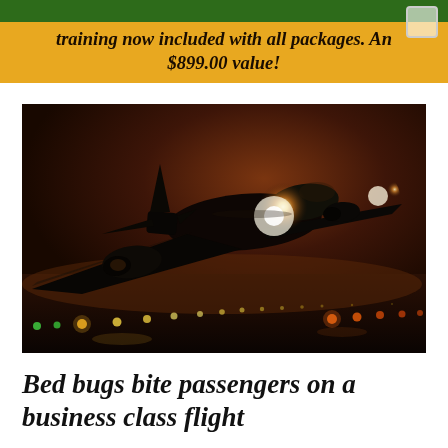training now included with all packages. An $899.00 value!
[Figure (photo): An airplane photographed from below as it takes off at night, with bright landing lights illuminating the scene and runway lights visible in the background.]
Bed bugs bite passengers on a business class flight